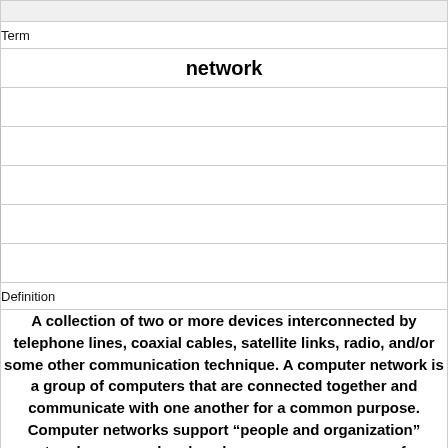| Term | Definition |
| --- | --- |
| network | A collection of two or more devices interconnected by telephone lines, coaxial cables, satellite links, radio, and/or some other communication technique. A computer network is a group of computers that are connected together and communicate with one another for a common purpose. Computer networks support “people and organization” networks, users who also share a common purpose for communicating. |